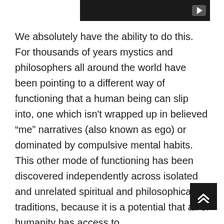[Figure (screenshot): Dark video player bar at top with a play button icon on the right side]
We absolutely have the ability to do this. For thousands of years mystics and philosophers all around the world have been pointing to a different way of functioning that a human being can slip into, one which isn't wrapped up in believed “me” narratives (also known as ego) or dominated by compulsive mental habits. This other mode of functioning has been discovered independently across isolated and unrelated spiritual and philosophical traditions, because it is a potential that all of humanity has access to.

This shift is most commonly known as